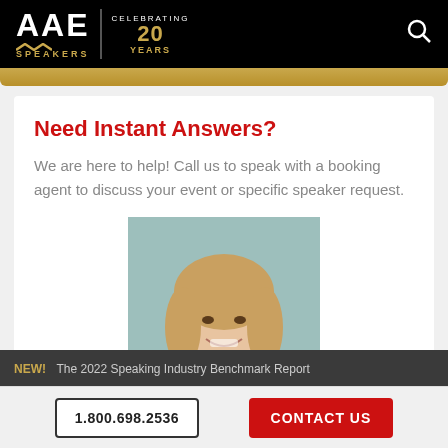AAE SPEAKERS — Celebrating 20 Years
Need Instant Answers?
We are here to help! Call us to speak with a booking agent to discuss your event or specific speaker request.
[Figure (photo): Headshot of a smiling blonde woman in a blue top, booking agent photo]
NEW! The 2022 Speaking Industry Benchmark Report
1.800.698.2536
CONTACT US